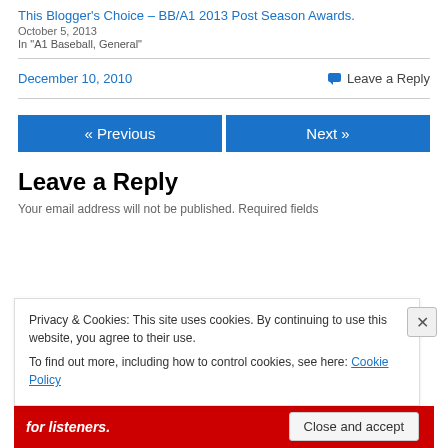This Blogger's Choice – BB/A1 2013 Post Season Awards.
October 5, 2013
In "A1 Baseball, General"
December 10, 2010
Leave a Reply
« Previous
Next »
Leave a Reply
Your email address will not be published. Required fields
Privacy & Cookies: This site uses cookies. By continuing to use this website, you agree to their use.
To find out more, including how to control cookies, see here: Cookie Policy
Close and accept
for listeners.